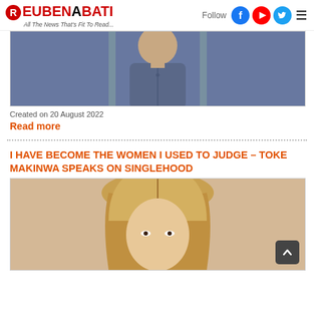ReubenAbati - All The News That's Fit To Read...
[Figure (photo): Photo of a man in a blue traditional outfit, cropped at upper body level]
Created on 20 August 2022
Read more
I HAVE BECOME THE WOMEN I USED TO JUDGE – TOKE MAKINWA SPEAKS ON SINGLEHOOD
[Figure (photo): Photo of a woman with long blonde hair, cropped at face level]